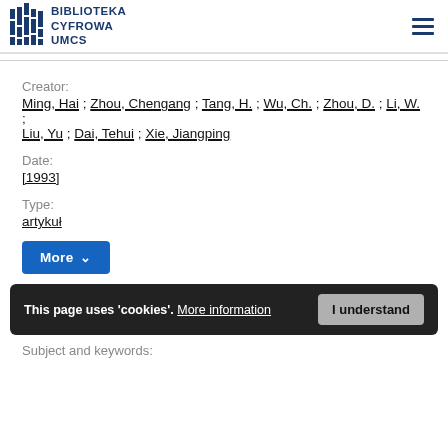BIBLIOTEKA CYFROWA UMCS
Creator:
Ming, Hai ; Zhou, Chengang ; Tang, H. ; Wu, Ch. ; Zhou, D. ; Li, W. ; Liu, Yu ; Dai, Tehui ; Xie, Jiangping
Date:
[1993]
Type:
artykuł
More
This page uses 'cookies'. More information  I understand
Subject and keywords: